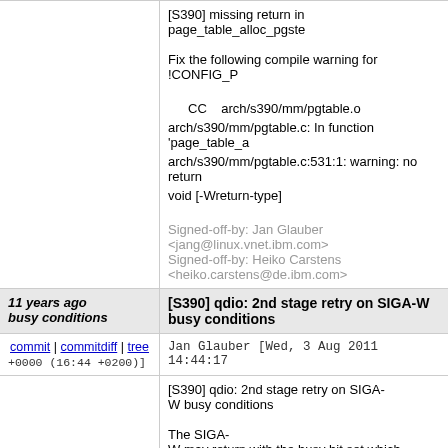[S390] missing return in page_table_alloc_pgste

Fix the following compile warning for !CONFIG_P

  CC    arch/s390/mm/pgtable.o
arch/s390/mm/pgtable.c: In function 'page_table_a
arch/s390/mm/pgtable.c:531:1: warning: no return
void [-Wreturn-type]

Signed-off-by: Jan Glauber <jang@linux.vnet.ibm.com>
Signed-off-by: Heiko Carstens <heiko.carstens@de.ibm.com>
11 years ago busy conditions
[S390] qdio: 2nd stage retry on SIGA-W busy conditions
commit | commitdiff | tree
Jan Glauber [Wed, 3 Aug 2011 14:44:17 +0000 (16:44 +0200)]
[S390] qdio: 2nd stage retry on SIGA-W busy conditions

The SIGA-W may return with the busy bit set which means th blocked. The busy loop which retries the SIGA-W for 100us may not be long enough when running under a heavily loaded

Extend the retry mechanism by adding a longer se